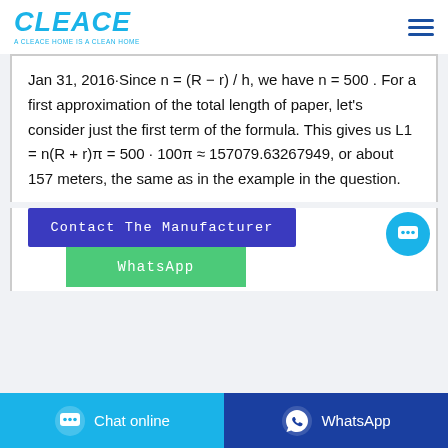[Figure (logo): CLEACE logo in bold italic cyan text with tagline 'A CLEACE HOME IS A CLEAN HOME']
Jan 31, 2016·Since n = (R − r) / h, we have n = 500 . For a first approximation of the total length of paper, let's consider just the first term of the formula. This gives us L1 = n(R + r)π = 500 · 100π ≈ 157079.63267949, or about 157 meters, the same as in the example in the question.
[Figure (other): Contact The Manufacturer button (dark blue) and WhatsApp button (green, partially visible), with cyan chat bubble icon at bottom right]
Chat online   WhatsApp